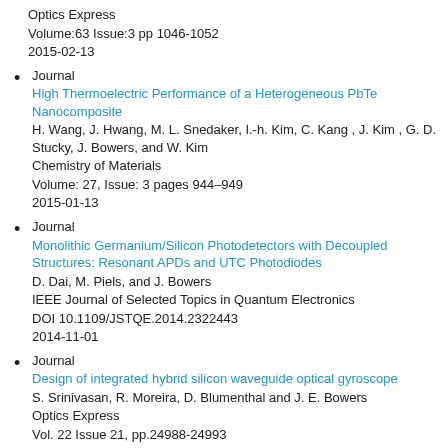Optics Express
Volume:63 Issue:3 pp 1046-1052
2015-02-13
Journal
High Thermoelectric Performance of a Heterogeneous PbTe Nanocomposite
H. Wang, J. Hwang, M. L. Snedaker, I.-h. Kim, C. Kang , J. Kim , G. D. Stucky, J. Bowers, and W. Kim
Chemistry of Materials
Volume: 27, Issue: 3 pages 944–949
2015-01-13
Journal
Monolithic Germanium/Silicon Photodetectors with Decoupled Structures: Resonant APDs and UTC Photodiodes
D. Dai, M. Piels, and J. Bowers
IEEE Journal of Selected Topics in Quantum Electronics
DOI 10.1109/JSTQE.2014.2322443
2014-11-01
Journal
Design of integrated hybrid silicon waveguide optical gyroscope
S. Srinivasan, R. Moreira, D. Blumenthal and J. E. Bowers
Optics Express
Vol. 22 Issue 21, pp.24988-24993